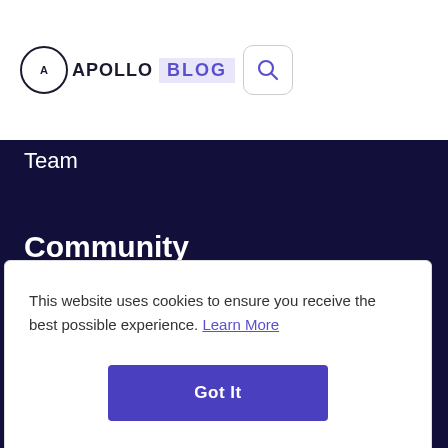[Figure (logo): Apollo Blog logo with circular 'A' wordmark and search icon button]
Team
Community
Blog
Docs
This website uses cookies to ensure you receive the best possible experience. Learn More
Got It
Terms of Service